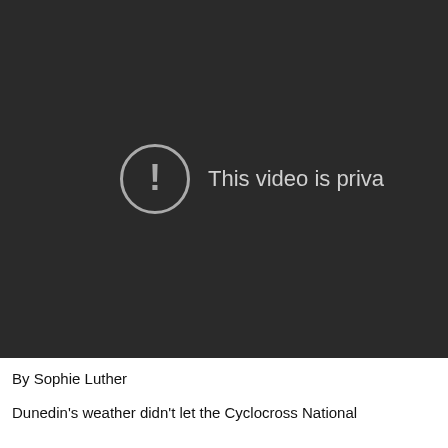[Figure (screenshot): Dark video player showing a private video error message. A circle with exclamation mark icon on the left and the text 'This video is priva' on the right (text cut off).]
By Sophie Luther
Dunedin's weather didn't let the Cyclocross National